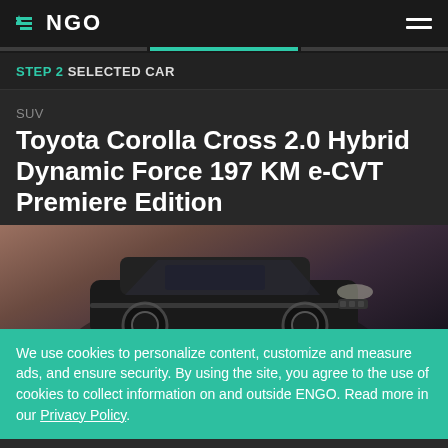ENGO
STEP 2 SELECTED CAR
SUV
Toyota Corolla Cross 2.0 Hybrid Dynamic Force 197 KM e-CVT Premiere Edition
[Figure (photo): Toyota Corolla Cross SUV vehicle shown from front-side angle against a warm reddish-brown gradient background, dark colored vehicle with silver trim]
We use cookies to personalize content, customize and measure ads, and ensure security. By using the site, you agree to the use of cookies to collect information on and outside ENGO. Read more in our Privacy Policy.